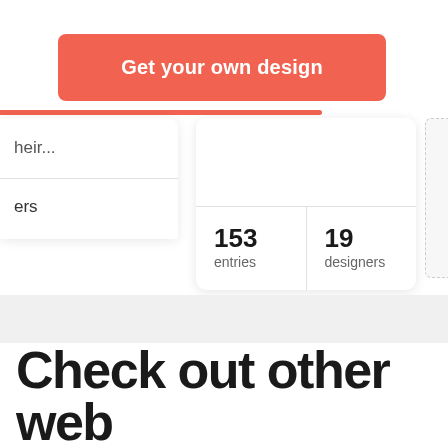[Figure (screenshot): Red/coral rounded button labeled 'Get your own design']
heir...
ers
153
entries
19
designers
Check out other web